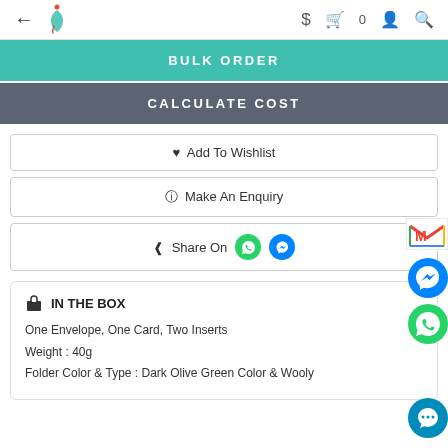← [logo] $ 🛍 0 👤 🔍
BULK ORDER
CALCULATE COST
♥ Add To Wishlist
? Make An Enquiry
< Share On [WhatsApp] [Messenger]
🎁 IN THE BOX
One Envelope, One Card, Two Inserts
Weight : 40g
Folder Color & Type : Dark Olive Green Color & Wooly